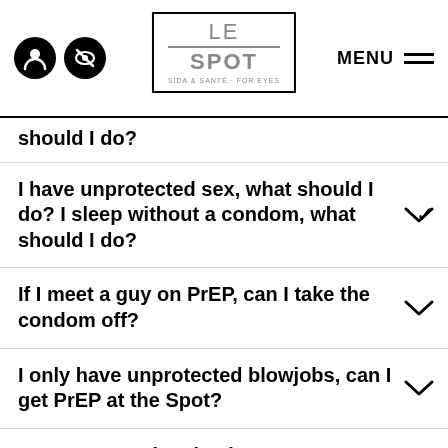LE SPOT | MENU
should I do?
I have unprotected sex, what should I do? I sleep without a condom, what should I do?
If I meet a guy on PrEP, can I take the condom off?
I only have unprotected blowjobs, can I get PrEP at the Spot?
How can I get involved?